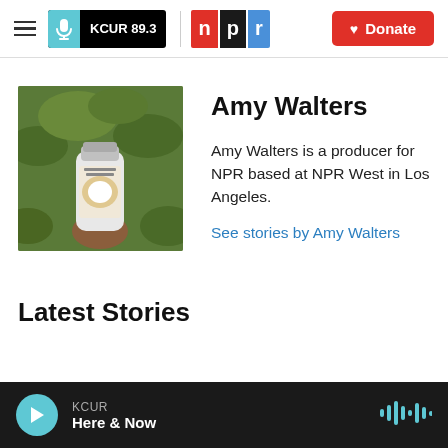KCUR 89.3 | npr | Donate
[Figure (photo): Profile photo of Amy Walters — a person holding a white bottle/container outdoors with green foliage in background]
Amy Walters
Amy Walters is a producer for NPR based at NPR West in Los Angeles.
See stories by Amy Walters
Latest Stories
KCUR Here & Now